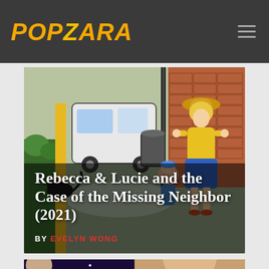POPZARA
[Figure (illustration): Comic book style illustration of two children investigating near a fence and parked car in an alley, with a black cat visible. One child wears a yellow outfit and hat.]
Rebecca & Lucie and the Case of the Missing Neighbor (2021)
BY EVELYN WONG
[Figure (photo): Partially visible image at the bottom of the page showing a person with a space/stars background on the left half.]